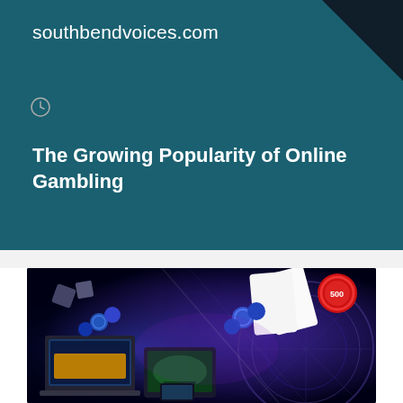southbendvoices.com
The Growing Popularity of Online Gambling
[Figure (photo): Online gambling themed image showing laptops and tablets with casino games, playing cards (Ace of spades), red poker chips, and a roulette wheel on a dark blue glowing background]